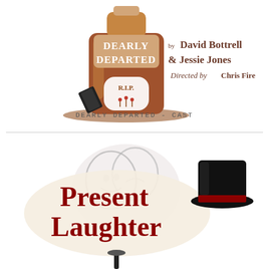[Figure (illustration): Dearly Departed play logo: a brown whiskey bottle with 'DEARLY DEPARTED' text and a gravestone with R.I.P. and flowers, with a black book/flask leaning against it and a brown puddle underneath. To the right: 'by David Bottrell & Jessie Jones Directed by Chris Fire' in brown serif/script text.]
DEARLY DEPARTED - CAST
[Figure (illustration): Present Laughter play logo: dark red serif text 'Present Laughter' on a cream oval background, with comedy/tragedy theater masks in gray behind, and a black top hat with red band on the right side.]